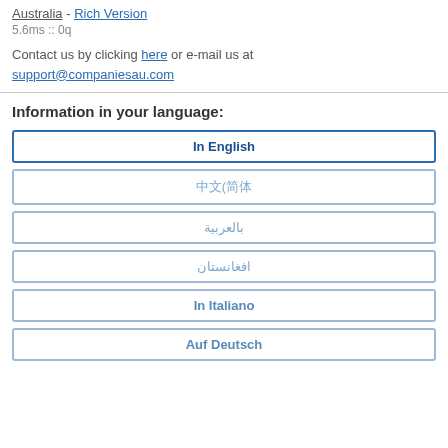Australia - Rich Version
5.6ms :: 0q
Contact us by clicking here or e-mail us at support@companiesau.com
Information in your language:
In English
中文(简体)
بالعربية
افغانستان
In Italiano
Auf Deutsch